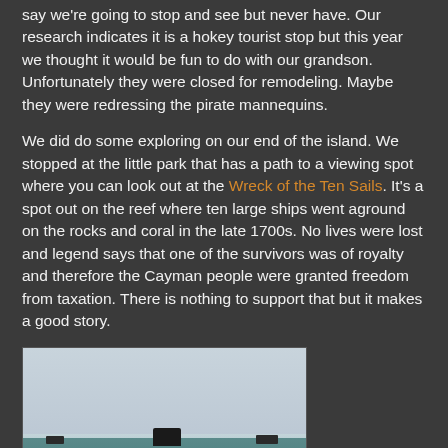say we're going to stop and see but never have. Our research indicates it is a hokey tourist stop but this year we thought it would be fun to do with our grandson. Unfortunately they were closed for remodeling. Maybe they were redressing the pirate mannequins.
We did do some exploring on our end of the island. We stopped at the little park that has a path to a viewing spot where you can look out at the Wreck of the Ten Sails. It's a spot out on the reef where ten large ships went aground on the rocks and coral in the late 1700s. No lives were lost and legend says that one of the survivors was of royalty and therefore the Cayman people were granted freedom from taxation. There is nothing to support that but it makes a good story.
[Figure (photo): Photograph of the sea showing the reef area where the Wreck of the Ten Sails is located. The image shows a flat ocean horizon with dark shapes (boats or wreck remnants) visible on or near the reef line, with white wave breaks visible. Sky is overcast grey-white, water is blue-grey teal.]